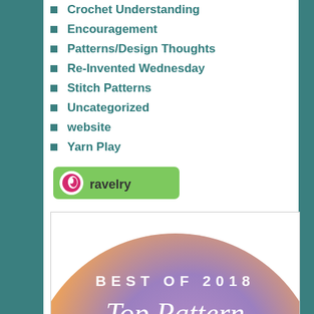Crochet Understanding
Encouragement
Patterns/Design Thoughts
Re-Invented Wednesday
Stitch Patterns
Uncategorized
website
Yarn Play
[Figure (logo): Ravelry green button logo with stylized 'e' icon and 'ravelry' text]
[Figure (illustration): Best of 2018 Top Pattern badge with purple-to-orange gradient circle background, white text reading 'BEST OF 2018' and 'Top Pattern' in italic script]